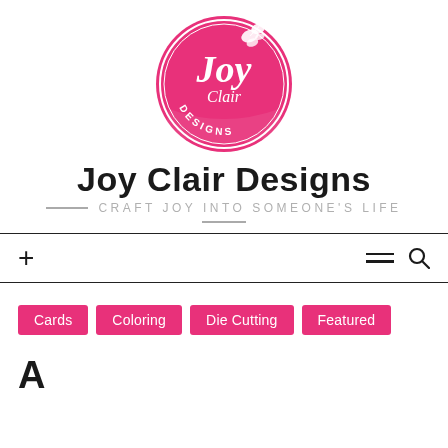[Figure (logo): Joy Clair Designs circular pink logo with butterfly decoration and script text]
Joy Clair Designs
CRAFT JOY INTO SOMEONE'S LIFE
+ ≡ 🔍
Cards
Coloring
Die Cutting
Featured